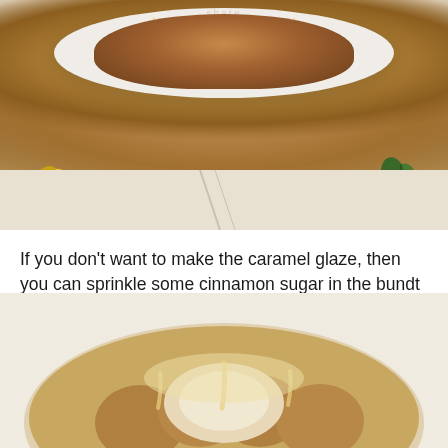[Figure (photo): Photo of a bundt cake on a white oval plate with caramel glaze dripping over it, yellow flowers and green leaves on the sides, set on a white wooden surface]
If you don't want to make the caramel glaze, then you can sprinkle some cinnamon sugar in the bundt pan after you spray it. Actually, you should do that even if you use the glaze because the cinnamon sugar adds an amazing crunch. But I wouldn't recommend skipping the glaze. It makes the cake.
[Figure (photo): Close-up photo of a bundt cake from above, showing the ridged cake with caramel glaze, from a top-down angle]